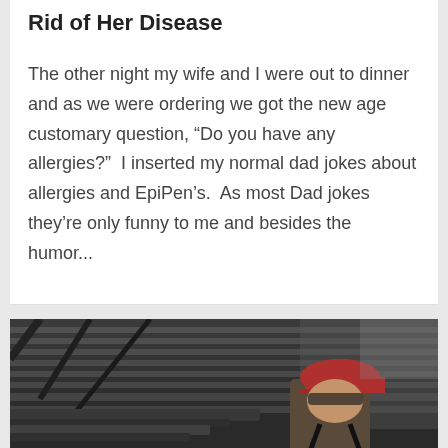Rid of Her Disease
The other night my wife and I were out to dinner and as we were ordering we got the new age customary question, “Do you have any allergies?”  I inserted my normal dad jokes about allergies and EpiPen’s.  As most Dad jokes they’re only funny to me and besides the humor...
[Figure (photo): A man wearing a red baseball cap and safety glasses, working under corrugated metal structure, looking back toward the camera. Dark, high-contrast HDR-style photograph.]